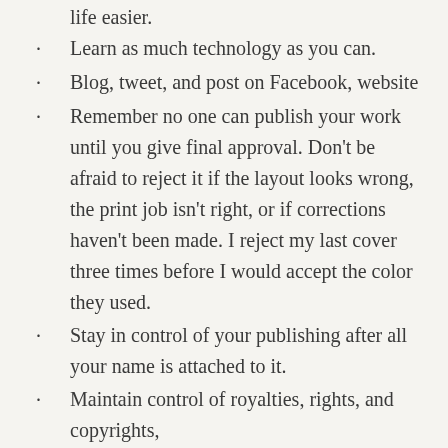life easier.
Learn as much technology as you can.
Blog, tweet, and post on Facebook, website
Remember no one can publish your work until you give final approval. Don't be afraid to reject it if the layout looks wrong, the print job isn't right, or if corrections haven't been made. I reject my last cover three times before I would accept the color they used.
Stay in control of your publishing after all your name is attached to it.
Maintain control of royalties, rights, and copyrights,
Market and sell your writings
Never sign a contract without having